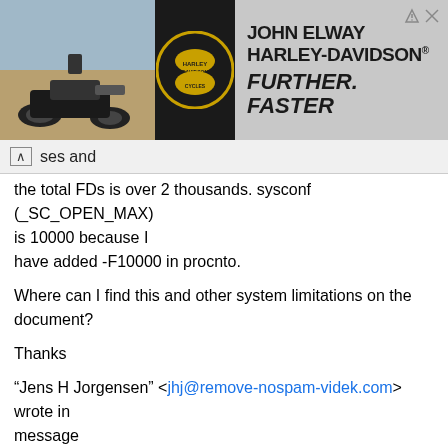[Figure (photo): Advertisement banner for John Elway Harley-Davidson with motorcyclist image, HD logo, brand name and 'FURTHER. FASTER' tagline]
ses and
the total FDs is over 2 thousands. sysconf (_SC_OPEN_MAX) is 10000 because I have added -F10000 in procnto.
Where can I find this and other system limitations on the document?
Thanks
"Jens H Jorgensen" <jhj@remove-nospam-videk.com> wrote in message news:bifh5c$227$1@inn.qnx.com…
Could you have a file descriptor leak in your program?
We had the same problem and it was due to a fd leak in our software. Use something like spin to monitor the numb